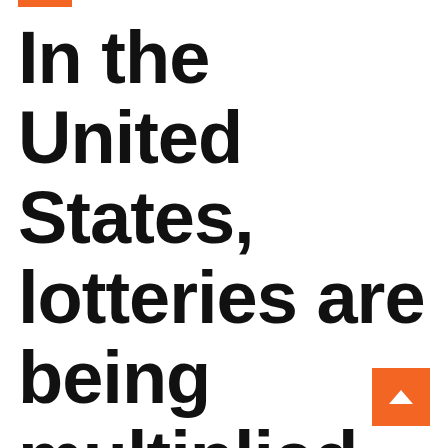In the United States, lotteries are being multiplied to renew the vaccine Covit-